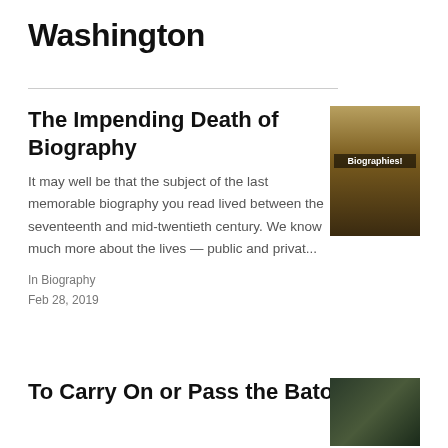Washington
The Impending Death of Biography
[Figure (photo): Bookshelf with books labeled 'Biographies!']
It may well be that the subject of the last memorable biography you read lived between the seventeenth and mid-twentieth century. We know much more about the lives — public and privat...
In Biography
Feb 28, 2019
To Carry On or Pass the Baton
[Figure (photo): Person at bowling alley with bowling ball]